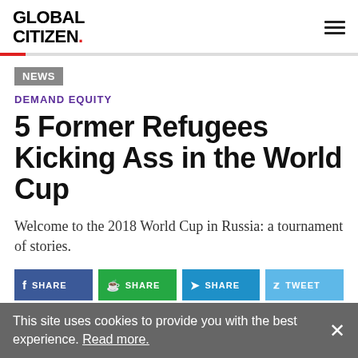GLOBAL CITIZEN.
NEWS
DEMAND EQUITY
5 Former Refugees Kicking Ass in the World Cup
Welcome to the 2018 World Cup in Russia: a tournament of stories.
SHARE SHARE SHARE TWEET SHARE
This site uses cookies to provide you with the best experience. Read more.